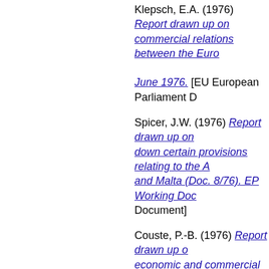Klepsch, E.A. (1976) Report drawn up on commercial relations between the Euro... June 1976. [EU European Parliament D...
Spicer, J.W. (1976) Report drawn up on... down certain provisions relating to the A... and Malta (Doc. 8/76). EP Working Doc... Document]
Couste, P.-B. (1976) Report drawn up o... economic and commercial relations bet... 1976-77, Document 468/76, 23 Decemb...
Boano, G. (1976) Report drawn up on b... economic relations between the Europe... January 1976. [EU European Parliamen...
Boano, G. (1976) Report drawn up on b... economic relations between the Europe... February 1976. [EU European Parliame...
Schmidt, M. (1976) Report drawn up on... Commission of the European Communi... down by law, regulation or administrativ...